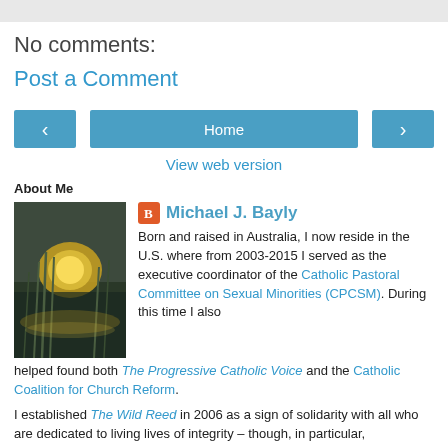No comments:
Post a Comment
[Figure (other): Navigation buttons: left arrow, Home, right arrow]
View web version
About Me
[Figure (photo): Sunset over water with reeds/marsh scene]
Michael J. Bayly
Born and raised in Australia, I now reside in the U.S. where from 2003-2015 I served as the executive coordinator of the Catholic Pastoral Committee on Sexual Minorities (CPCSM). During this time I also helped found both The Progressive Catholic Voice and the Catholic Coalition for Church Reform.
I established The Wild Reed in 2006 as a sign of solidarity with all who are dedicated to living lives of integrity – though, in particular,